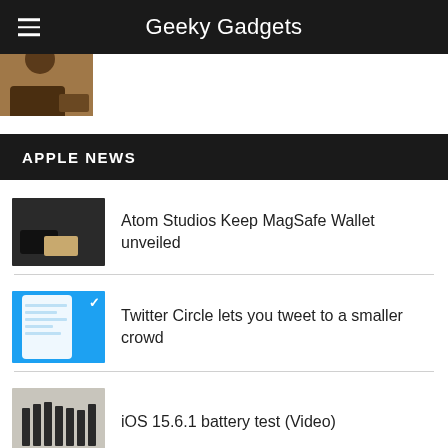Geeky Gadgets
[Figure (photo): Partial thumbnail of a person working, cropped at top of page]
APPLE NEWS
[Figure (photo): Atom Studios Keep MagSafe Wallet product photo on dark background]
Atom Studios Keep MagSafe Wallet unveiled
[Figure (screenshot): Screenshot of Twitter app on phone with blue background]
Twitter Circle lets you tweet to a smaller crowd
[Figure (photo): Row of iPhones for iOS 15.6.1 battery test]
iOS 15.6.1 battery test (Video)